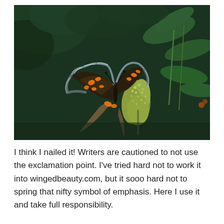[Figure (photo): A butterfly with orange spots and blue-edged wings perched on a cluster of small yellow-green flowers, with dark green foliage in the background.]
I think I nailed it! Writers are cautioned to not use the exclamation point. I've tried hard not to work it into wingedbeauty.com, but it sooo hard not to spring that nifty symbol of emphasis. Here I use it and take full responsibility.